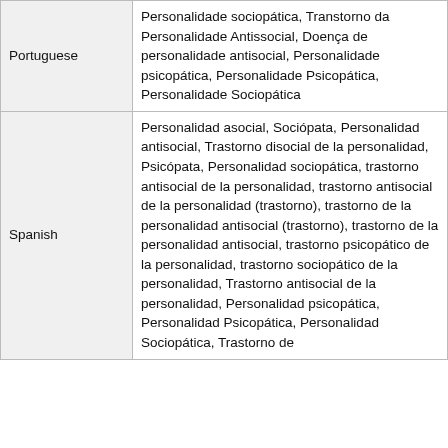| Language | Terms |
| --- | --- |
| Portuguese | Personalidade sociopática, Transtorno da Personalidade Antissocial, Doença de personalidade antisocial, Personalidade psicopática, Personalidade Psicopática, Personalidade Sociopática |
| Spanish | Personalidad asocial, Sociópata, Personalidad antisocial, Trastorno disocial de la personalidad, Psicópata, Personalidad sociopática, trastorno antisocial de la personalidad, trastorno antisocial de la personalidad (trastorno), trastorno de la personalidad antisocial (trastorno), trastorno de la personalidad antisocial, trastorno psicopático de la personalidad, trastorno sociopático de la personalidad, Trastorno antisocial de la personalidad, Personalidad psicopática, Personalidad Psicopática, Personalidad Sociopática, Trastorno de |